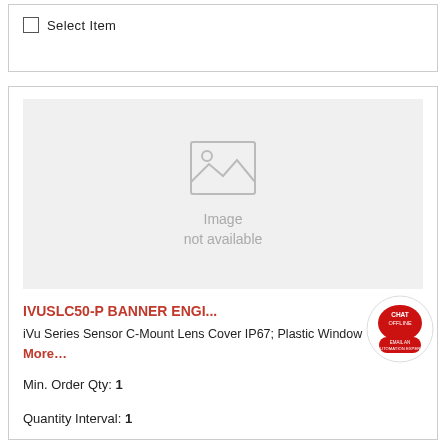Select Item
[Figure (illustration): Image not available placeholder with mountain/landscape icon]
IVUSLC50-P BANNER ENGI...
iVu Series Sensor C-Mount Lens Cover IP67; Plastic Window More...
Min. Order Qty: 1
Quantity Interval: 1
Availability: Contact Us